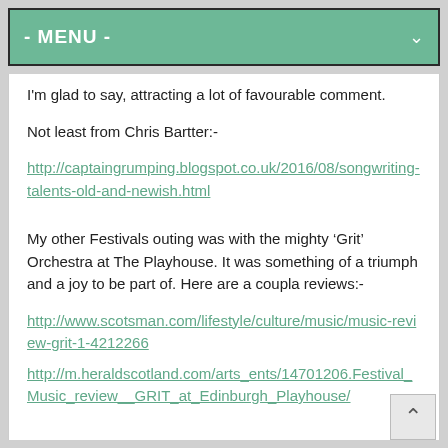- MENU -
I'm glad to say, attracting a lot of favourable comment.
Not least from Chris Bartter:-
http://captaingrumping.blogspot.co.uk/2016/08/songwriting-talents-old-and-newish.html
My other Festivals outing was with the mighty ‘Grit’ Orchestra at The Playhouse. It was something of a triumph and a joy to be part of. Here are a coupla reviews:-
http://www.scotsman.com/lifestyle/culture/music/music-review-grit-1-4212266
http://m.heraldscotland.com/arts_ents/14701206.Festival_Music_review__GRIT_at_Edinburgh_Playhouse/